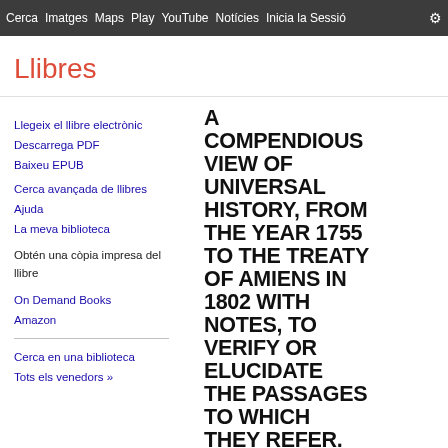Cerca  Imatges  Maps  Play  YouTube  Notícies  Inicia  la  Sessió  Me  ⚙
Llibres
Llegeix el llibre electrònic
Descarrega PDF
Baixeu EPUB
Cerca avançada de llibres
Ajuda
La meva biblioteca
Obtén una còpia impresa del llibre
On Demand Books
Amazon
Cerca en una biblioteca
Tots els venedors »
[Figure (other): Book cover showing large bold text: A COMPENDIOUS VIEW OF UNIVERSAL HISTORY, FROM THE YEAR 1755 TO THE TREATY OF AMIENS IN 1802 WITH NOTES, TO VERIFY OR ELUCIDATE THE PASSAGES TO WHICH THEY REFER.]